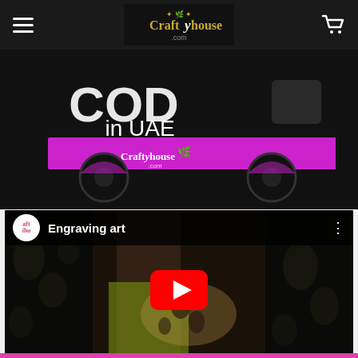Craftyhouse.com navigation bar with hamburger menu and cart icon
[Figure (illustration): Black delivery truck with magenta/pink color accent panel on side, text 'COD in UAE' in white on black body, Craftyhouse logo on the magenta panel]
[Figure (screenshot): YouTube video embed showing 'Engraving art' video by Craftyhouse channel. Video thumbnail shows a person doing engraving work over dark floral fabric. Red YouTube play button in center.]